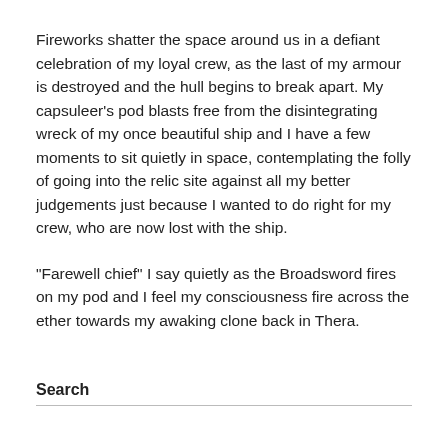Fireworks shatter the space around us in a defiant celebration of my loyal crew, as the last of my armour is destroyed and the hull begins to break apart. My capsuleer’s pod blasts free from the disintegrating wreck of my once beautiful ship and I have a few moments to sit quietly in space, contemplating the folly of going into the relic site against all my better judgements just because I wanted to do right for my crew, who are now lost with the ship.
“Farewell chief” I say quietly as the Broadsword fires on my pod and I feel my consciousness fire across the ether towards my awaking clone back in Thera.
Search